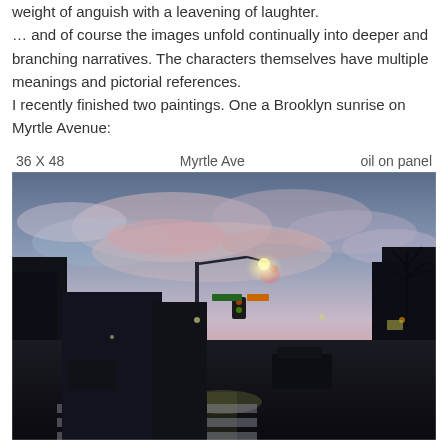weight of anguish with a leavening of laughter. … and of course the images unfold continually into deeper and branching narratives. The characters themselves have multiple meanings and pictorial references.
I recently finished two paintings. One a Brooklyn sunrise on Myrtle Avenue:
36 X 48          Myrtle Ave          oil on panel
[Figure (photo): Oil painting of a Brooklyn street scene at sunrise/dusk on Myrtle Avenue. Dark street with crosswalk in foreground, traffic lights, street lamps, buildings on both sides, and a dramatic colorful cloudy sky with pink and blue hues above.]